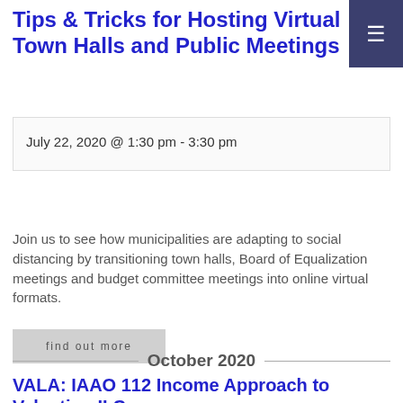Tips & Tricks for Hosting Virtual Town Halls and Public Meetings
July 22, 2020 @ 1:30 pm - 3:30 pm
Join us to see how municipalities are adapting to social distancing by transitioning town halls, Board of Equalization meetings and budget committee meetings into online virtual formats.
find out more
October 2020
VALA: IAAO 112 Income Approach to Valuation II Course